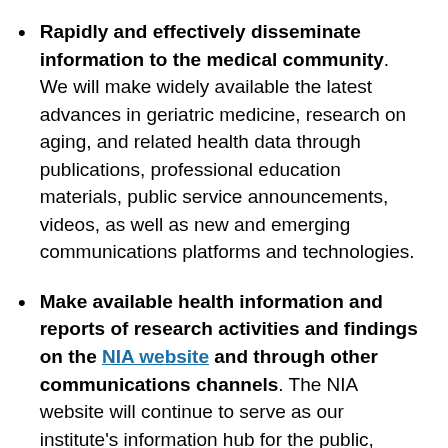Rapidly and effectively disseminate information to the medical community. We will make widely available the latest advances in geriatric medicine, research on aging, and related health data through publications, professional education materials, public service announcements, videos, as well as new and emerging communications platforms and technologies.
Make available health information and reports of research activities and findings on the NIA website and through other communications channels. The NIA website will continue to serve as our institute's information hub for the public, researchers, health professionals, stakeholder organizations, journalists, and policymakers interested in health, aging, and research. Mobile